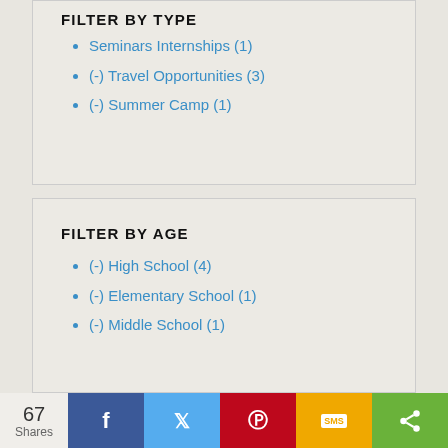FILTER BY TYPE
Seminars Internships (1)
(-) Travel Opportunities (3)
(-) Summer Camp (1)
FILTER BY AGE
(-) High School (4)
(-) Elementary School (1)
(-) Middle School (1)
67 Shares  f  Twitter  Pinterest  SMS  Share